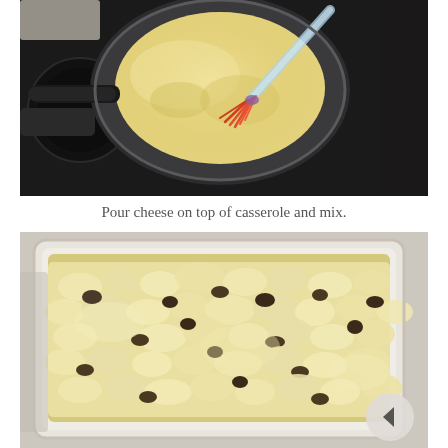[Figure (photo): Top-down view of a saucepan on a black stovetop containing a creamy yellow cheese sauce being stirred with a red silicone whisk with a clear handle.]
Pour cheese on top of casserole and mix.
[Figure (photo): A white rectangular baking dish containing a casserole mixed with creamy white cheese sauce, pasta, and dark pieces (mushrooms or meat), with a circular navigation arrow button visible in the bottom-right corner.]